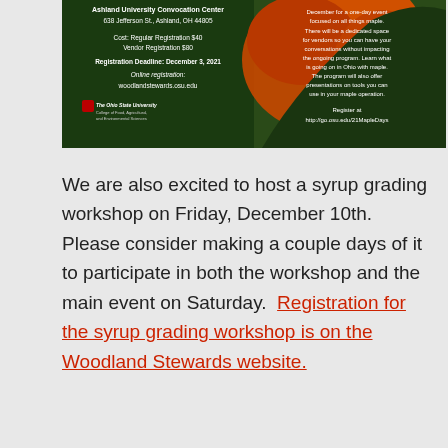[Figure (photo): OSU Maple Days event flyer with autumn maple leaf image, showing event details: Ashland University Convocation Center, 638 Jefferson St., Ashland, OH 44805, Cost: Regular Registration $40, Vendor Registration $80, Registration Deadline: December 3, 2021, Online registration: woodlandstewards.osu.edu, The Ohio State University logo. Right side text about December one-day event focused on maple, vendor space, presentations on tools. Register at http://go.osu.edu/21MapleDays]
We are also excited to host a syrup grading workshop on Friday, December 10th.  Please consider making a couple days of it to participate in both the workshop and the main event on Saturday.  Registration for the syrup grading workshop is on the Woodland Stewards website.